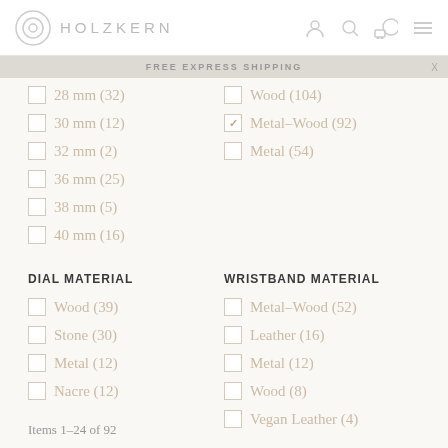HOLZKERN
FREE EXPRESS SHIPPING
28 mm (32)
30 mm (12)
32 mm (2)
36 mm (25)
38 mm (5)
40 mm (16)
Wood (104)
Metal-Wood (92) [checked]
Metal (54)
DIAL MATERIAL
WRISTBAND MATERIAL
Wood (39)
Stone (30)
Metal (12)
Nacre (12)
Metal-Wood (52)
Leather (16)
Metal (12)
Wood (8)
Vegan Leather (4)
Items 1–24 of 92